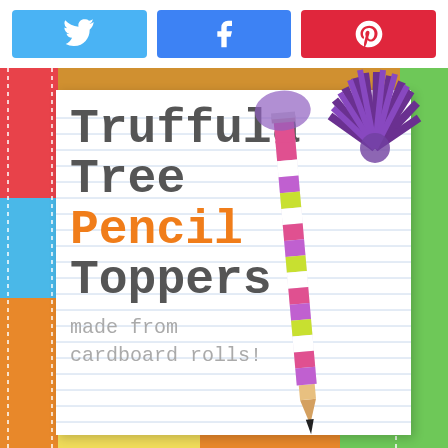[Figure (other): Social sharing buttons bar with Twitter (blue), Facebook (blue), and Pinterest (red) buttons]
[Figure (photo): Photo of a Truffula Tree Pencil Topper craft on a lined notepad with a colorful striped pencil. Text on notepad reads: Truffula Tree Pencil Toppers made from cardboard rolls! The background is a colorful patchwork fabric.]